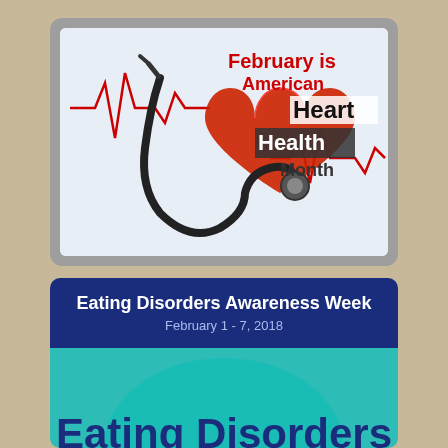[Figure (illustration): American Heart Health Month graphic showing a stethoscope, red heart, and ECG line with text 'February is American Heart Health Month']
[Figure (infographic): Eating Disorders Awareness Week banner with dark blue header showing 'Eating Disorders Awareness Week, February 1 - 7, 2018' and teal lower section with large bold 'Eating Disorders' text]